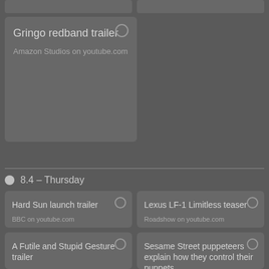[Figure (screenshot): Partial top cards from previous section]
[Figure (screenshot): Card: Gringo redband trailer by Amazon Studios on youtube.com]
8.4 – Thursday
[Figure (screenshot): Card: Hard Sun launch trailer by BBC on youtube.com]
[Figure (screenshot): Card: Lexus LF-1 Limitless teaser by Roadshow on youtube.com]
[Figure (screenshot): Card: A Futile and Stupid Gesture trailer by Netflix on youtube.com]
[Figure (screenshot): Card: Sesame Street puppeteers explain how they control their puppets]